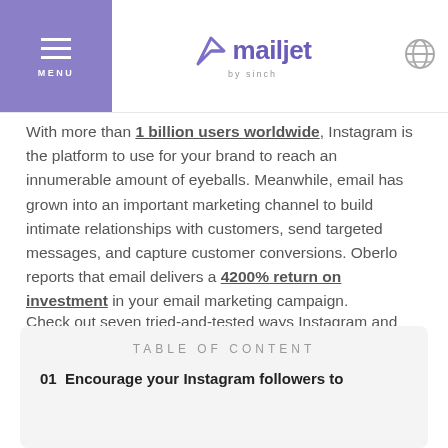mailjet by sinch
With more than 1 billion users worldwide, Instagram is the platform to use for your brand to reach an innumerable amount of eyeballs. Meanwhile, email has grown into an important marketing channel to build intimate relationships with customers, send targeted messages, and capture customer conversions. Oberlo reports that email delivers a 4200% return on investment in your email marketing campaign.
Check out seven tried-and-tested ways Instagram and email marketing can work together.
TABLE OF CONTENT
01  Encourage your Instagram followers to...